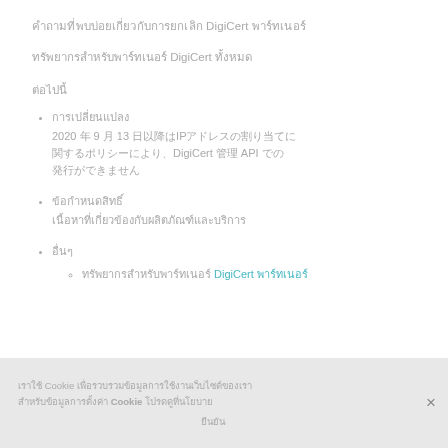คำถามที่พบบ่อยเกี่ยวกับการยกเลิก DigiCert พาร์ทเนอร์
ทรัพยากรสำหรับพาร์ทเนอร์ DigiCert ทั้งหมด
ต่อไปนี้
การเปลี่ยนแปลง
2020 年 9 月 13 日以降はIPアドレスの割り当てに関するポリシーにより、DigiCert 管理 API での発行ができません
ข้อกำหนดสิทธิ์
เนื้อหาที่เกี่ยวข้องกับผลิตภัณฑ์และบริการ
อื่นๆ
ทรัพยากรสำหรับพาร์ทเนอร์ DigiCert พาร์ทเนอร์
เราใช้ Cookie เพื่อรวบรวมข้อมูลการใช้งานเว็บไซต์ของเรา สำหรับข้อมูลการตั้งค่า Cookie โปรดดูที่นโยบาย ยืนยัน